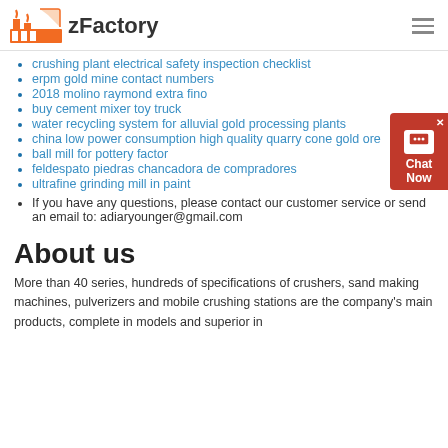zFactory
crushing plant electrical safety inspection checklist
erpm gold mine contact numbers
2018 molino raymond extra fino
buy cement mixer toy truck
water recycling system for alluvial gold processing plants
china low power consumption high quality quarry cone gold ore
ball mill for pottery factor
feldespato piedras chancadora de compradores
ultrafine grinding mill in paint
If you have any questions, please contact our customer service or send an email to: adiaryounger@gmail.com
About us
More than 40 series, hundreds of specifications of crushers, sand making machines, pulverizers and mobile crushing stations are the company's main products, complete in models and superior in